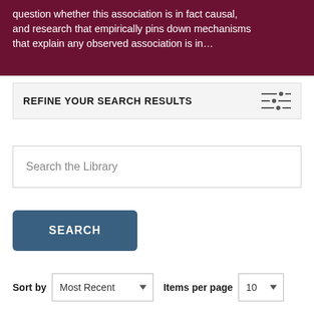question whether this association is in fact causal, and research that empirically pins down mechanisms that explain any observed association is in…
REFINE YOUR SEARCH RESULTS
Search the Library
SEARCH
Sort by   Most Recent   Items per page   10